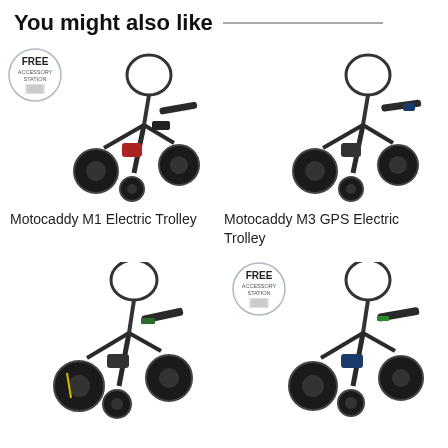You might also like
[Figure (photo): Motocaddy M1 Electric Trolley product photo with FREE Accessory Station badge]
[Figure (photo): Motocaddy M3 GPS Electric Trolley product photo]
Motocaddy M1 Electric Trolley
Motocaddy M3 GPS Electric Trolley
[Figure (photo): Bottom-left electric trolley product photo]
[Figure (photo): Bottom-right electric trolley product photo with FREE Accessory Station badge]